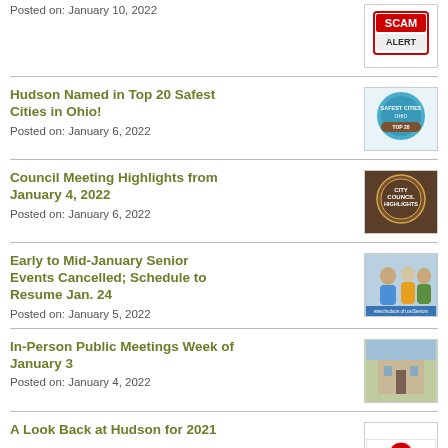Posted on: January 10, 2022
[Figure (illustration): Scam Alert badge/logo image]
Hudson Named in Top 20 Safest Cities in Ohio!
Posted on: January 6, 2022
[Figure (illustration): Safest Cities Ohio badge/seal]
Council Meeting Highlights from January 4, 2022
Posted on: January 6, 2022
[Figure (illustration): City Council Highlights dark brown badge]
Early to Mid-January Senior Events Cancelled; Schedule to Resume Jan. 24
Posted on: January 5, 2022
[Figure (photo): Group of senior citizens smiling]
In-Person Public Meetings Week of January 3
Posted on: January 4, 2022
[Figure (photo): Historic building exterior photo]
A Look Back at Hudson for 2021